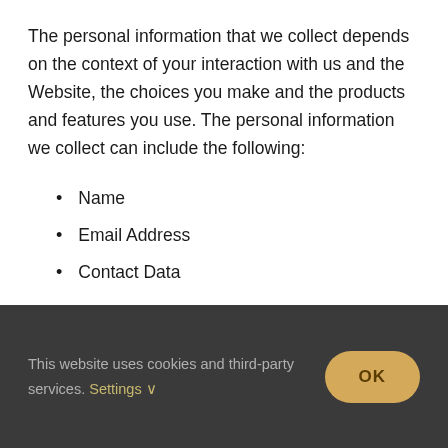The personal information that we collect depends on the context of your interaction with us and the Website, the choices you make and the products and features you use. The personal information we collect can include the following:
Name
Email Address
Contact Data
Cookies
This website uses cookies and third-party services. Settings ∨
OK